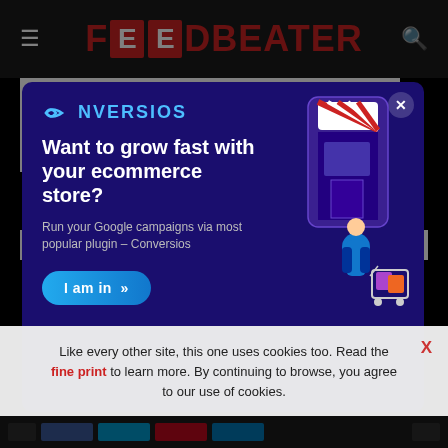FOODBEATER
Octopus CRM vs Dripify: Features
of the Dripify tool made this possible
[Figure (infographic): Conversios advertisement modal: logo, headline 'Want to grow fast with your ecommerce store?', subtext 'Run your Google campaigns via most popular plugin – Conversios', 'I am in' button, and illustration of a woman with shopping cart and phone.]
Like every other site, this one uses cookies too. Read the fine print to learn more. By continuing to browse, you agree to our use of cookies.